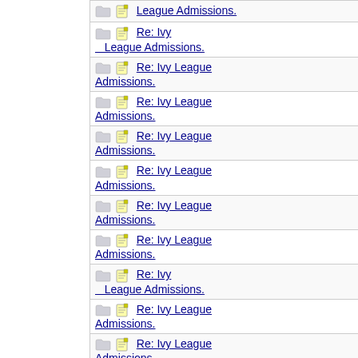| Subject | Author |
| --- | --- |
| Re: Ivy League Admissions. | indigo |
| Re: Ivy League Admissions. | Bostonia |
| Re: Ivy League Admissions. | HowlerK |
| Re: Ivy League Admissions. | 75west |
| Re: Ivy League Admissions. | 75west |
| Re: Ivy League Admissions. | gabalyn |
| Re: Ivy League Admissions. | 75west |
| Re: Ivy League Admissions. | Bostonia |
| Re: Ivy League Admissions. | indigo |
| Re: Ivy League Admissions. | Bostonia |
| Re: Ivy League Admissions. | Bostonia |
| Re: Ivy League Admissions. | Bostonia |